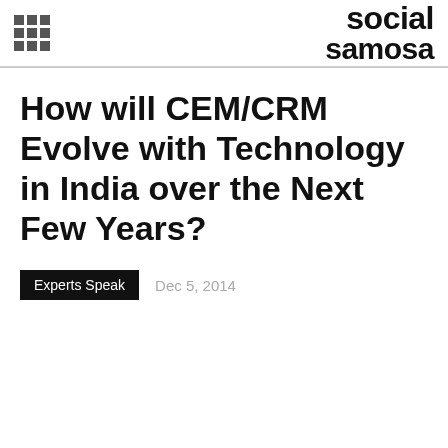social samosa
How will CEM/CRM Evolve with Technology in India over the Next Few Years?
Experts Speak
Dec 5, 2014